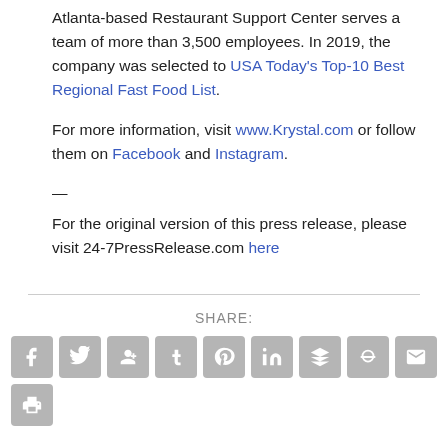Atlanta-based Restaurant Support Center serves a team of more than 3,500 employees. In 2019, the company was selected to USA Today's Top-10 Best Regional Fast Food List.
For more information, visit www.Krystal.com or follow them on Facebook and Instagram.
— For the original version of this press release, please visit 24-7PressRelease.com here
SHARE:
[Figure (infographic): Row of 9 social media sharing icon buttons (Facebook, Twitter, Google+, Tumblr, Pinterest, LinkedIn, Buffer, StumbleUpon, Email) and a print button below, all in gray square rounded boxes.]